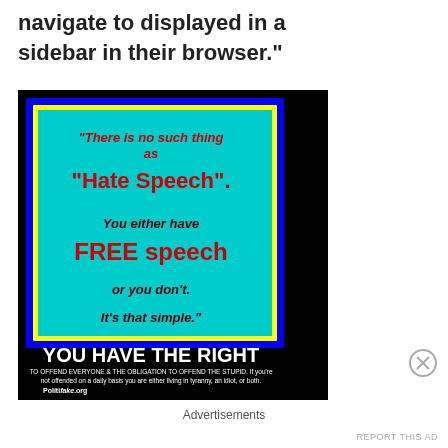navigate to displayed in a sidebar in their browser."
[Figure (photo): Motivational poster image with black background. A blue-bordered cyan rectangle contains red and dark red text reading: "There is no such thing as 'Hate Speech'. You either have FREE speech or you don't. It's that simple." Below the box in white text: YOU HAVE THE RIGHT. Smaller white text: TO OFFEND EVERYONE & THE OBLIGATION TO OFFEND THE STUPID. If you're not offended on a daily basis you are either living in tyranny, an idiot, or both. Politifake.org]
Advertisements